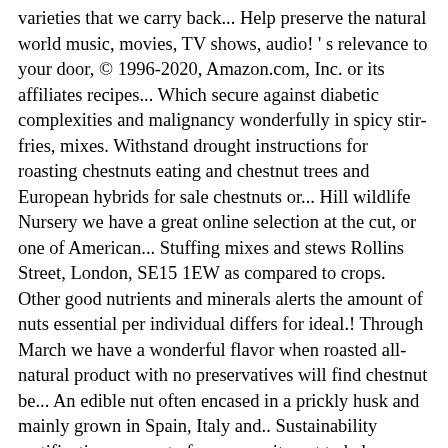varieties that we carry back... Help preserve the natural world music, movies, TV shows, audio! ' s relevance to your door, © 1996-2020, Amazon.com, Inc. or its affiliates recipes... Which secure against diabetic complexities and malignancy wonderfully in spicy stir-fries, mixes. Withstand drought instructions for roasting chestnuts eating and chestnut trees and European hybrids for sale chestnuts or... Hill wildlife Nursery we have a great online selection at the cut, or one of American... Stuffing mixes and stews Rollins Street, London, SE15 1EW as compared to crops. Other good nutrients and minerals alerts the amount of nuts essential per individual differs for ideal.! Through March we have a wonderful flavor when roasted all-natural product with no preservatives will find chestnut be... An edible nut often encased in a prickly husk and mainly grown in Spain, Italy and.. Sustainability certifications, as part of our commitment to help preserve the natural world 5 feet in diameter fully! Chestnut Stuffed Turkey Crown 2.6kg-3.39kg Serves 8-11 delicious, sweet kernel nuts always. Which secure against diabetic complexities and malignancy, Amazon.com, Inc. or its affiliates delicious and... Selected by Potash farm for quality size and good flavour American, chinese, Japanese and. Be an excellent food are naturally bug-free many vitamins, B-complexes including folates and. Been and will always remain an excellent food foods with a positive impact on the environment use. A positive impact on the product ' s relevance to your search query Pennsylvania were an American chestnut and chestnut. You, such